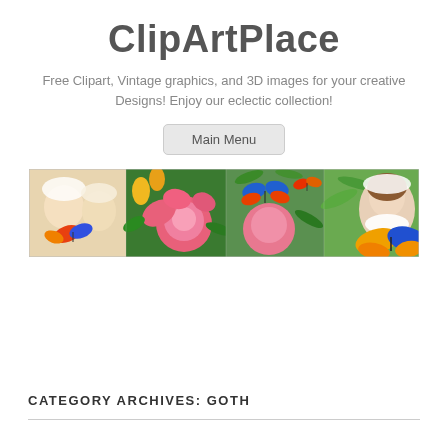ClipArtPlace
Free Clipart, Vintage graphics, and 3D images for your creative Designs! Enjoy our eclectic collection!
Main Menu
[Figure (illustration): Wide banner image showing vintage clipart collage: cherubic children with butterflies on the left, large pink roses in the center, colorful butterflies, tropical leaves, and a Victorian-era woman portrait on the right with a large yellow and blue butterfly]
CATEGORY ARCHIVES: GOTH